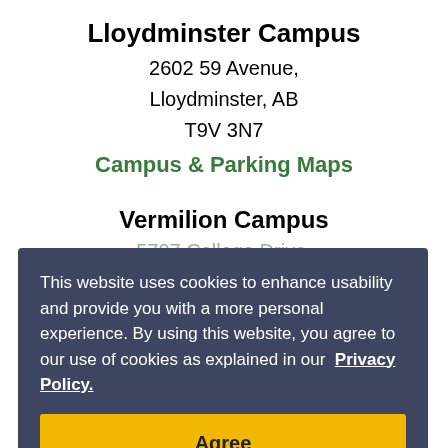Lloydminster Campus
2602 59 Avenue,
Lloydminster, AB
T9V 3N7
Campus & Parking Maps
Vermilion Campus
5707 College Drive,
My HR
Maintenance Requests
Website Feedback
Contact Us
This website uses cookies to enhance usability and provide you with a more personal experience. By using this website, you agree to our use of cookies as explained in our Privacy Policy.